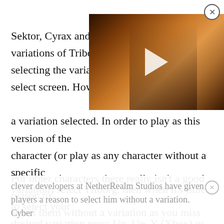[Figure (screenshot): Video thumbnail overlay showing a dark-toned action scene with a character holding a gun, with a white play button triangle in the center, and an X close button in the top-right corner.]
Sektor, Cyrax and Robot Smoke are all variations of Triborg. It's easy to do by selecting the variation of your choice on the select screen. However, Cyber Sub-Zero doesn't have a variation selected. In order to play as this version of the character (or play as any character without a specific variation) select Triborg, then when it's time to select your desired variation press Up, Up, Y (Xbox) or Triangle (PS4). Doing this will give you Cyber Sub-Zero (LK-520).
For other characters there really isn't a good reason to select them without a variation as you miss out on what makes each variation special. However, with Triborg the
clever developers at NetherRealm Studios have given players a reason to select him without a variation. Cyber